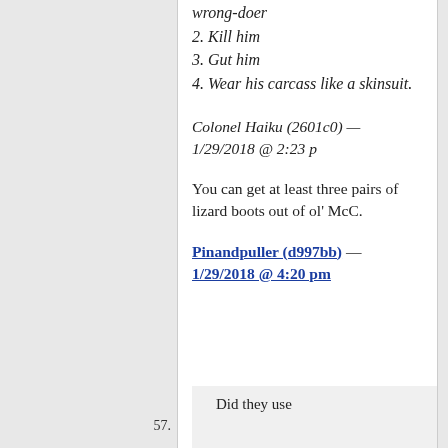2. Kill him
3. Gut him
4. Wear his carcass like a skinsuit.
Colonel Haiku (2601c0) — 1/29/2018 @ 2:23 p
You can get at least three pairs of lizard boots out of ol' McC.
Pinandpuller (d997bb) — 1/29/2018 @ 4:20 pm
57. Did they use